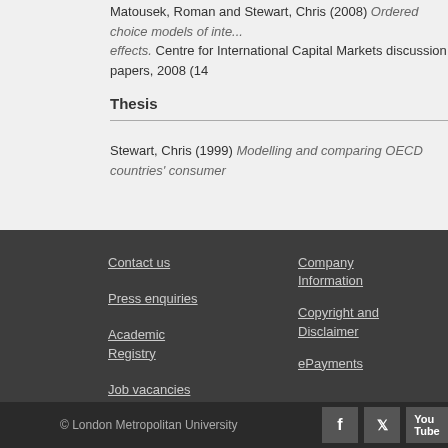Matousek, Roman and Stewart, Chris (2008) Ordered choice models of interest effects. Centre for International Capital Markets discussion papers, 2008 (14)
Thesis
Stewart, Chris (1999) Modelling and comparing OECD countries' consumer...
Contact us
Press enquiries
Company Information
Copyright and Disclaimer
Academic Registry
Job vacancies
ePayments
© London Metropolitan University